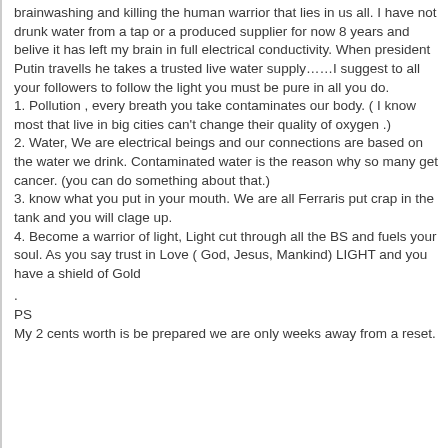brainwashing and killing the human warrior that lies in us all. I have not drunk water from a tap or a produced supplier for now 8 years and belive it has left my brain in full electrical conductivity. When president Putin travells he takes a trusted live water supply……I suggest to all your followers to follow the light you must be pure in all you do.
1. Pollution , every breath you take contaminates our body. ( I know most that live in big cities can't change their quality of oxygen .)
2. Water, We are electrical beings and our connections are based on the water we drink. Contaminated water is the reason why so many get cancer. (you can do something about that.)
3. know what you put in your mouth. We are all Ferraris put crap in the tank and you will clage up.
4. Become a warrior of light, Light cut through all the BS and fuels your soul. As you say trust in Love ( God, Jesus, Mankind) LIGHT and you have a shield of Gold
.
PS
My 2 cents worth is be prepared we are only weeks away from a reset.